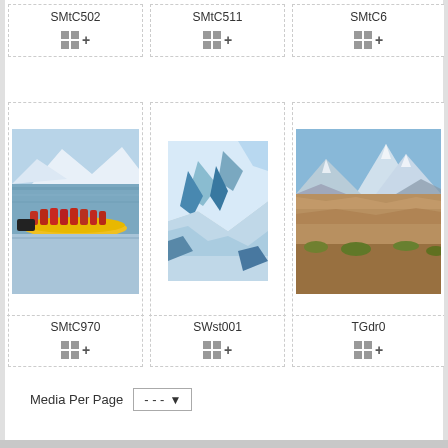[Figure (screenshot): Media library grid UI showing photo thumbnails with labels SMtC502, SMtC511, SMtC6xx (top row, no images), SMtC970 (people on yellow boat near icebergs), SWst001 (aerial snow/ice mountain), TGdr0x (mountain landscape). Each cell has an add-to-lightbox icon. Bottom shows Media Per Page dropdown.]
SMtC502
SMtC511
SMtC6…
SMtC970
SWst001
TGdr0…
Media Per Page  - - -  ▾